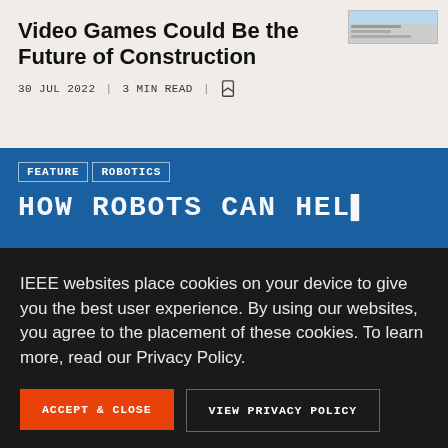Video Games Could Be the Future of Construction
30 JUL 2022 | 3 MIN READ |
FEATURE | ROBOTICS
HOW ROBOTS CAN HELP
IEEE websites place cookies on your device to give you the best user experience. By using our websites, you agree to the placement of these cookies. To learn more, read our Privacy Policy.
ACCEPT & CLOSE
VIEW PRIVACY POLICY